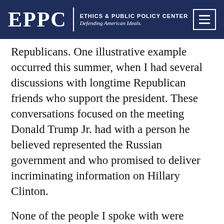EPPC | ETHICS & PUBLIC POLICY CENTER Defending American Ideals.
Republicans. One illustrative example occurred this summer, when I had several discussions with longtime Republican friends who support the president. These conversations focused on the meeting Donald Trump Jr. had with a person he believed represented the Russian government and who promised to deliver incriminating information on Hillary Clinton.
None of the people I spoke with were troubled in the least by it.
“At best, your side suggests he should have refused to take the meeting,” one person told